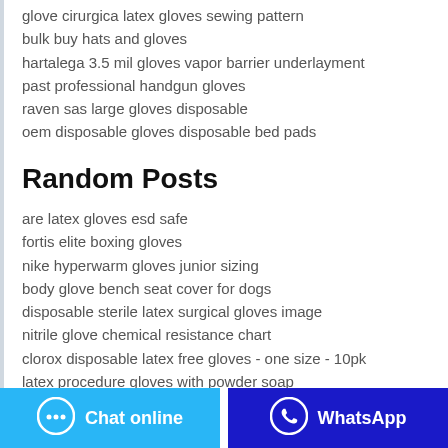glove cirurgica latex gloves sewing pattern
bulk buy hats and gloves
hartalega 3.5 mil gloves vapor barrier underlayment
past professional handgun gloves
raven sas large gloves disposable
oem disposable gloves disposable bed pads
Random Posts
are latex gloves esd safe
fortis elite boxing gloves
nike hyperwarm gloves junior sizing
body glove bench seat cover for dogs
disposable sterile latex surgical gloves image
nitrile glove chemical resistance chart
clorox disposable latex free gloves - one size - 10pk
latex procedure gloves with powder soap
silver source vinyl gloves powder free in stock
Chat online | WhatsApp